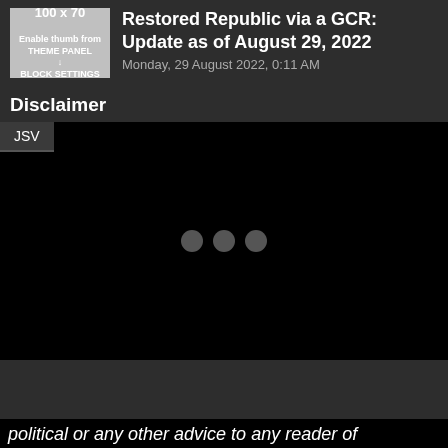[Figure (other): Thumbnail placeholder box showing '100 x 70' with text 'Enable thumb from THEME PANEL → BLOCK SETTINGS']
Restored Republic via a GCR: Update as of August 29, 2022
Monday, 29 August 2022, 0:11 AM
Disclaimer
[Figure (screenshot): Black video embed area with a 'JSV' tab at top left and three grey loading dots in the center]
political or any other advice to any reader of